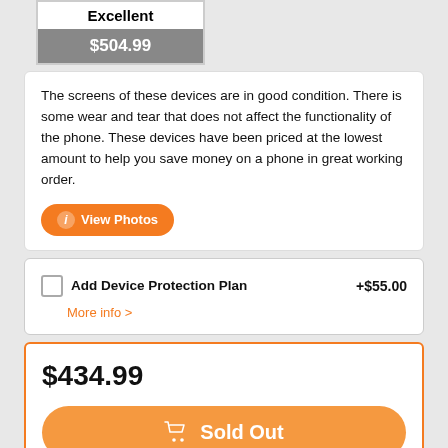Excellent $504.99
The screens of these devices are in good condition. There is some wear and tear that does not affect the functionality of the phone. These devices have been priced at the lowest amount to help you save money on a phone in great working order.
View Photos
Add Device Protection Plan +$55.00
More info >
$434.99
Sold Out